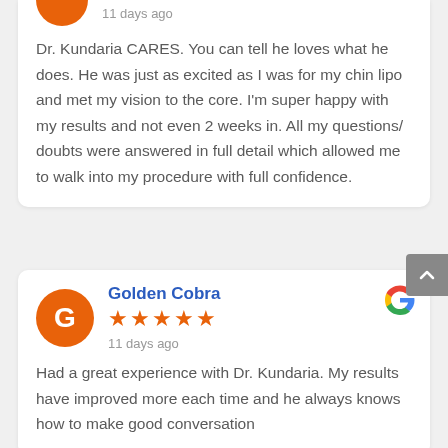Dr. Kundaria CARES. You can tell he loves what he does. He was just as excited as I was for my chin lipo and met my vision to the core. I'm super happy with my results and not even 2 weeks in. All my questions/ doubts were answered in full detail which allowed me to walk into my procedure with full confidence.
Golden Cobra
★★★★★
11 days ago
Had a great experience with Dr. Kundaria. My results have improved more each time and he always knows how to make good conversation